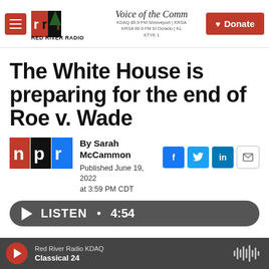Red River Radio — Voice of the Community — KDAQ 89.9 FM Shreveport | KRSA 90.9 FM El Dorado | KTYK — Donate
The White House is preparing for the end of Roe v. Wade
[Figure (logo): NPR logo — red, black, blue squares with n, p, r letters]
By Sarah McCammon
Published June 19, 2022 at 3:59 PM CDT
[Figure (infographic): Social share icons: Facebook (f), Twitter (bird), LinkedIn (in), Email (envelope)]
LISTEN • 4:54
Red River Radio KDAQ Classical 24